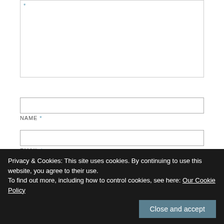[Figure (screenshot): Large text area input box with asterisk label at top left, partially shown at top of page]
NAME *
[Figure (screenshot): Name text input field]
EMAIL *
[Figure (screenshot): Email text input field]
Privacy & Cookies: This site uses cookies. By continuing to use this website, you agree to their use.
To find out more, including how to control cookies, see here: Our Cookie Policy
Close and accept
Notify me of new comments via email.